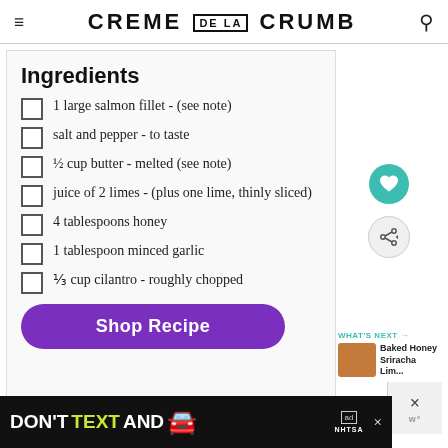CREME DE LA CRUMB
Ingredients
1 large salmon fillet - (see note)
salt and pepper - to taste
½ cup butter - melted (see note)
juice of 2 limes - (plus one lime, thinly sliced)
4 tablespoons honey
1 tablespoon minced garlic
⅓ cup cilantro - roughly chopped
Shop Recipe
[Figure (screenshot): WHAT'S NEXT banner with thumbnail image of Baked Honey Sriracha Lim...]
[Figure (screenshot): Ad banner: DON'T TEXT AND [car emoji] with ad and NHTSA branding]